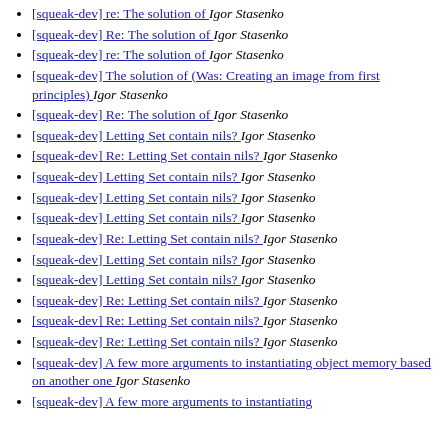[squeak-dev] re: The solution of   Igor Stasenko
[squeak-dev] Re: The solution of   Igor Stasenko
[squeak-dev] re: The solution of   Igor Stasenko
[squeak-dev] The solution of (Was: Creating an image from first principles)   Igor Stasenko
[squeak-dev] Re: The solution of   Igor Stasenko
[squeak-dev] Letting Set contain nils?   Igor Stasenko
[squeak-dev] Re: Letting Set contain nils?   Igor Stasenko
[squeak-dev] Letting Set contain nils?   Igor Stasenko
[squeak-dev] Letting Set contain nils?   Igor Stasenko
[squeak-dev] Letting Set contain nils?   Igor Stasenko
[squeak-dev] Re: Letting Set contain nils?   Igor Stasenko
[squeak-dev] Letting Set contain nils?   Igor Stasenko
[squeak-dev] Letting Set contain nils?   Igor Stasenko
[squeak-dev] Re: Letting Set contain nils?   Igor Stasenko
[squeak-dev] Re: Letting Set contain nils?   Igor Stasenko
[squeak-dev] Re: Letting Set contain nils?   Igor Stasenko
[squeak-dev] A few more arguments to instantiating object memory based on another one   Igor Stasenko
[squeak-dev] A few more arguments to instantiating